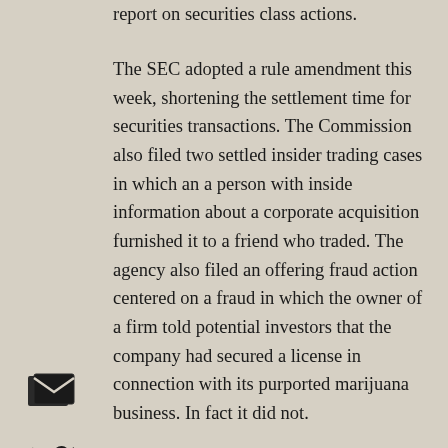report on securities class actions.
The SEC adopted a rule amendment this week, shortening the settlement time for securities transactions. The Commission also filed two settled insider trading cases in which an a person with inside information about a corporate acquisition furnished it to a friend who traded. The agency also filed an offering fraud action centered on a fraud in which the owner of a firm told potential investors that the company had secured a license in connection with its purported marijuana business. In fact it did not.
The Manhattan U.S. Attorney's Office also filed an offering fraud action. The case centered on claims that a technology firm with virtually not assets was profitable. In the Eastern District of New York prosecutors obtained a guilty plea in another offering fraud case where investors were falsely told that the firm was managing millions of